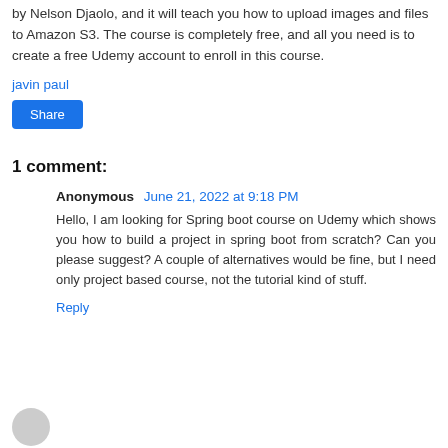by Nelson Djaolo, and it will teach you how to upload images and files to Amazon S3. The course is completely free, and all you need is to create a free Udemy account to enroll in this course.
javin paul
Share
1 comment:
Anonymous  June 21, 2022 at 9:18 PM
Hello, I am looking for Spring boot course on Udemy which shows you how to build a project in spring boot from scratch? Can you please suggest? A couple of alternatives would be fine, but I need only project based course, not the tutorial kind of stuff.
Reply